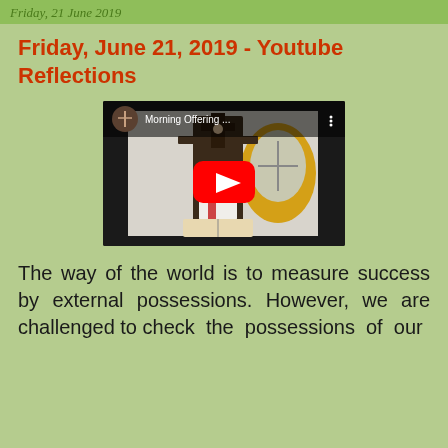Friday, 21 June 2019
Friday, June 21, 2019 - Youtube Reflections
[Figure (screenshot): YouTube video thumbnail showing a church altar with a crucifix, an open bible, and a yellow oval window. A red YouTube play button is centered. Title shows 'Morning Offering ...']
The way of the world is to measure success by external possessions. However, we are challenged to check the possessions of our